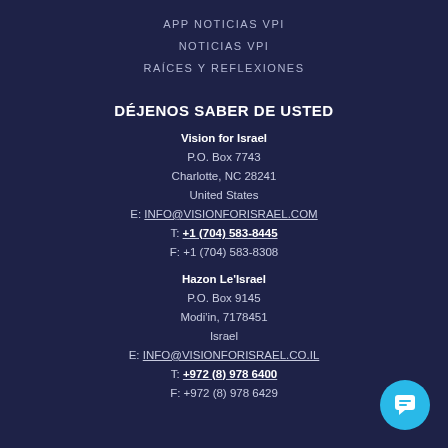APP NOTICIAS VPI
NOTICIAS VPI
RAÍCES Y REFLEXIONES
DÉJENOS SABER DE USTED
Vision for Israel
P.O. Box 7743
Charlotte, NC 28241
United States
E: INFO@VISIONFORISRAEL.COM
T: +1 (704) 583-8445
F: +1 (704) 583-8308
Hazon Le'Israel
P.O. Box 9145
Modi'in, 7178451
Israel
E: INFO@VISIONFORISRAEL.CO.IL
T: +972 (8) 978 6400
F: +972 (8) 978 6429
[Figure (illustration): Cyan circular chat button icon in bottom-right corner]